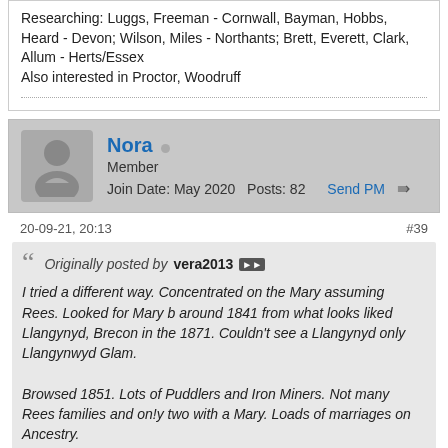Researching: Luggs, Freeman - Cornwall, Bayman, Hobbs, Heard - Devon; Wilson, Miles - Northants; Brett, Everett, Clark, Allum - Herts/Essex
Also interested in Proctor, Woodruff
Nora
Member
Join Date: May 2020  Posts: 82  Send PM
20-09-21, 20:13
#39
Originally posted by vera2013
I tried a different way. Concentrated on the Mary assuming Rees. Looked for Mary b around 1841 from what looks liked Llangynyd, Brecon in the 1871. Couldn't see a Llangynyd only Llangynwyd Glam.

Browsed 1851. Lots of Puddlers and Iron Miners. Not many Rees families and only two with a Mary. Loads of marriages on Ancestry.